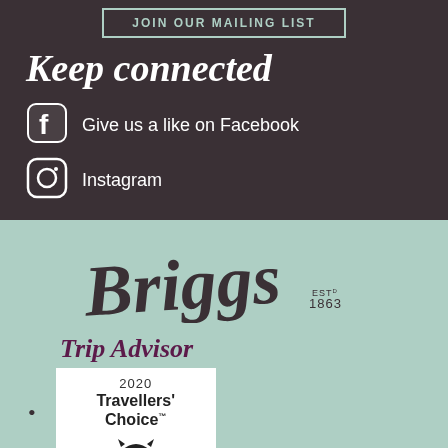JOIN OUR MAILING LIST
Keep connected
Give us a like on Facebook
Instagram
[Figure (logo): Briggs Est. 1863 script logo on mint green background]
Trip Advisor
[Figure (infographic): TripAdvisor 2020 Travellers' Choice badge with owl logo and Tripadvisor text]